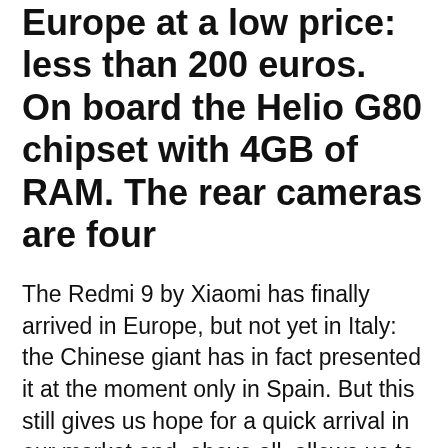Europe at a low price: less than 200 euros. On board the Helio G80 chipset with 4GB of RAM. The rear cameras are four
The Redmi 9 by Xiaomi has finally arrived in Europe, but not yet in Italy: the Chinese giant has in fact presented it at the moment only in Spain. But this still gives us hope for a quick arrival in our market and, above all, allows us to know the official data sheet and the final price.
It is in fact a low-end device, but good features thanks to a mid-range CPU, with a starting price below 150 euros and a large capacity battery. Detail not coincidental, given that smartphones in this price range